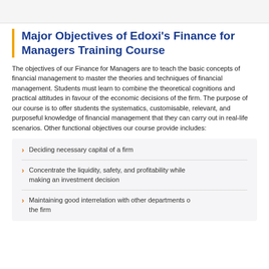Major Objectives of Edoxi's Finance for Managers Training Course
The objectives of our Finance for Managers are to teach the basic concepts of financial management to master the theories and techniques of financial management. Students must learn to combine the theoretical cognitions and practical attitudes in favour of the economic decisions of the firm. The purpose of our course is to offer students the systematics, customisable, relevant, and purposeful knowledge of financial management that they can carry out in real-life scenarios. Other functional objectives our course provide includes:
Deciding necessary capital of a firm
Concentrate the liquidity, safety, and profitability while making an investment decision
Maintaining good interrelation with other departments of the firm